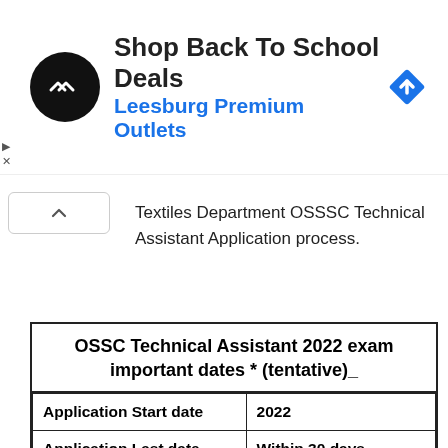[Figure (other): Advertisement banner: Shop Back To School Deals - Leesburg Premium Outlets, with circular logo and diamond arrow icon]
Textiles Department OSSSC Technical Assistant Application process.
| OSSC Technical Assistant 2022 exam important dates * (tentative)_ |
| Application Start date | 2022 |
| Application Last date | Within 30 days |
| Technical Assistant Exam date 2022 (tentative) | Within few days |